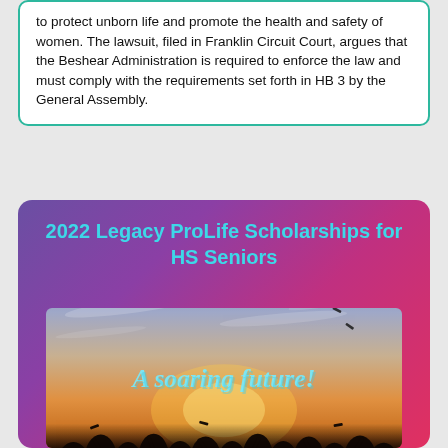to protect unborn life and promote the health and safety of women. The lawsuit, filed in Franklin Circuit Court, argues that the Beshear Administration is required to enforce the law and must comply with the requirements set forth in HB 3 by the General Assembly.
2022 Legacy ProLife Scholarships for HS Seniors
[Figure (photo): Graduation photo with silhouette of graduates tossing caps against a sunset sky, with script text 'A soaring future!' overlaid in light blue]